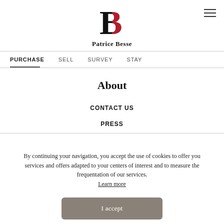[Figure (logo): Patrice Besse logo — stylized B with red and black halves, brand name below]
PURCHASE   SELL   SURVEY   STAY
About
CONTACT US
PRESS
By continuing your navigation, you accept the use of cookies to offer you services and offers adapted to your centers of interest and to measure the frequentation of our services. Learn more
I accept